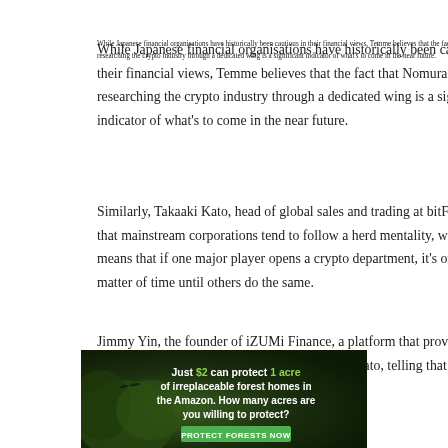While Japanese financial organisations have historically been cautious in their financial views, Temme believes that the fact that Nomura is researching the crypto industry through a dedicated wing is a significant indicator of what's to come in the near future.
Similarly, Takaaki Kato, head of global sales and trading at bitFlyer, told that mainstream corporations tend to follow a herd mentality, which means that if one major player opens a crypto department, it's only a matter of time until others do the same.
Jimmy Yin, the founder of iZUMi Finance, a platform that provides liquidity as a service, agreed with Temme and Kato, telling that the construction of dedicated crypto wings will
[Figure (infographic): Advertisement banner: 'Just $2 can protect 1 acre of irreplaceable forest homes in the Amazon. How many acres are you willing to protect?' with a green 'Protect Forests Now' button, forest background image.]